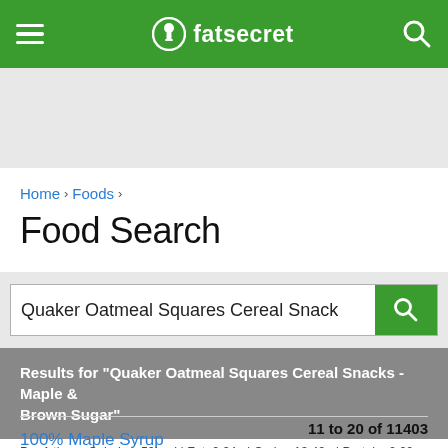fatsecret
Home › Foods ›
Food Search
Quaker Oatmeal Squares Cereal Snack
Results for "Quaker Oatmeal Squares Cereal Snacks - Maple & Brown Sugar"
11 to 20 of 11403
100% Maple Syrup
Per 1 tbsp - Calories: 52kcal | Fat: 0.04g | Carbs: 13.42g | Protein: 0.00g